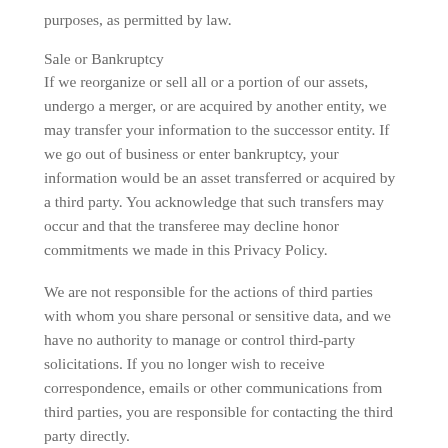purposes, as permitted by law.
Sale or Bankruptcy
If we reorganize or sell all or a portion of our assets, undergo a merger, or are acquired by another entity, we may transfer your information to the successor entity. If we go out of business or enter bankruptcy, your information would be an asset transferred or acquired by a third party. You acknowledge that such transfers may occur and that the transferee may decline honor commitments we made in this Privacy Policy.
We are not responsible for the actions of third parties with whom you share personal or sensitive data, and we have no authority to manage or control third-party solicitations. If you no longer wish to receive correspondence, emails or other communications from third parties, you are responsible for contacting the third party directly.